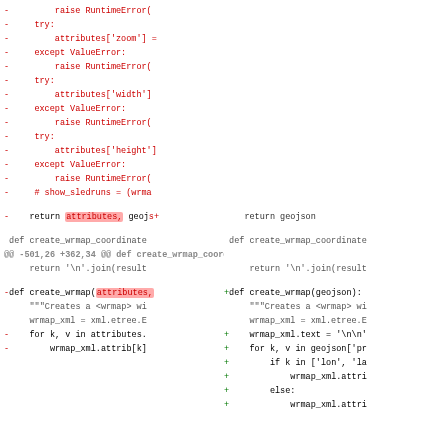[Figure (screenshot): A split diff view of Python source code showing removed lines (red) and added lines (green). The diff shows changes to functions including raise RuntimeError, try/except blocks, attributes handling, and create_wrmap function signatures changing from attributes parameter to geojson parameter.]